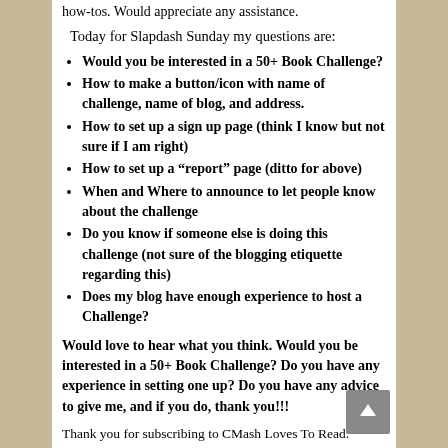how-tos. Would appreciate any assistance.
Today for Slapdash Sunday my questions are:
Would you be interested in a 50+ Book Challenge?
How to make a button/icon with name of challenge, name of blog, and address.
How to set up a sign up page (think I know but not sure if I am right)
How to set up a “report” page (ditto for above)
When and Where to announce to let people know about the challenge
Do you know if someone else is doing this challenge (not sure of the blogging etiquette regarding this)
Does my blog have enough experience to host a Challenge?
Would love to hear what you think. Would you be interested in a 50+ Book Challenge? Do you have any experience in setting one up? Do you have any advice to give me, and if you do, thank you!!!
Thank you for subscribing to CMash Loves To Read.